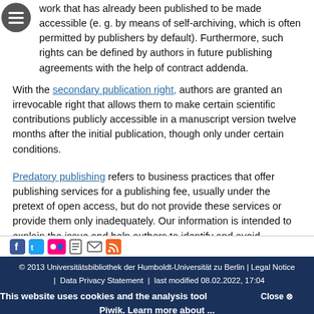work that has already been published to be made accessible (e. g. by means of self-archiving, which is often permitted by publishers by default). Furthermore, such rights can be defined by authors in future publishing agreements with the help of contract addenda.
With the secondary publication right, authors are granted an irrevocable right that allows them to make certain scientific contributions publicly accessible in a manuscript version twelve months after the initial publication, though only under certain conditions.
Predatory publishing refers to business practices that offer publishing services for a publishing fee, usually under the pretext of open access, but do not provide these services or provide them only inadequately. Our information is intended to explain the issue and help authors to identify and avoid predatory publishing.
[Figure (other): Social media icons: Facebook, Twitter, Flickr, document, email, RSS feed]
© 2013 Universitätsbibliothek der Humboldt-Universität zu Berlin | Legal Notice  |  Data Privacy Statement  |  last modified 08.02.2022, 17:04
This website uses cookies and the analysis tool Piwik. Learn more about ...